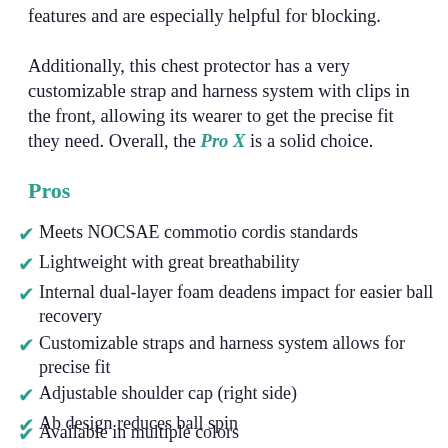features and are especially helpful for blocking. Additionally, this chest protector has a very customizable strap and harness system with clips in the front, allowing its wearer to get the precise fit they need. Overall, the Pro X is a solid choice.
Pros
Meets NOCSAE commotio cordis standards
Lightweight with great breathability
Internal dual-layer foam deadens impact for easier ball recovery
Customizable straps and harness system allows for precise fit
Adjustable shoulder cap (right side)
Ab design reduces ball spin
Available in multiple colors (partial)